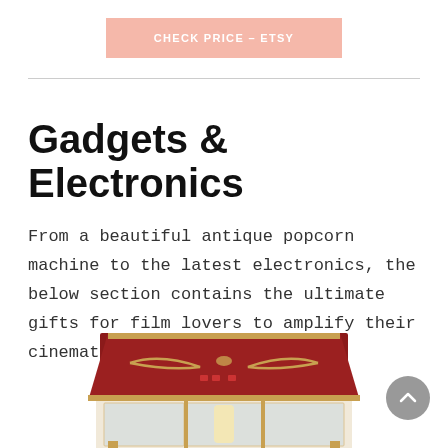CHECK PRICE – ETSY
Gadgets & Electronics
From a beautiful antique popcorn machine to the latest electronics, the below section contains the ultimate gifts for film lovers to amplify their cinematic experience.
[Figure (photo): Partial view of a red antique-style popcorn machine with gold decorative accents and glass panels]